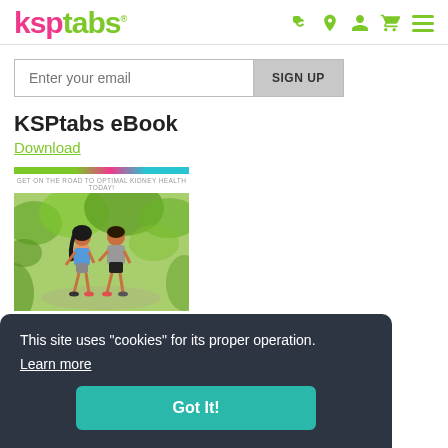ksptabs
Enter your email  SIGN UP
KSPtabs eBook
Download
[Figure (photo): eBook cover with multicolor stripe at top, tagline 'GET ON THE ROAD TO OPTIMAL KIDNEY HEALTH TODAY!', and two runners jogging outdoors in green setting]
This site uses "cookies" for its proper operation. Learn more
Got It!